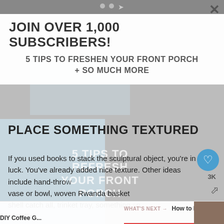JOIN OVER 1,000 SUBSCRIBERS!
5 TIPS TO FRESHEN YOUR FRONT PORCH + SO MUCH MORE
PLACE SOMETHING TEXTURED
If you used books to stack the sculptural object, you're in luck. You've already added nice texture. Other ideas include hand-thrown vase or bowl, woven Rwanda basket, shell catch all, trinket tray, something metallic.
3K
WHAT'S NEXT → How to Make a DIY Coffee G...